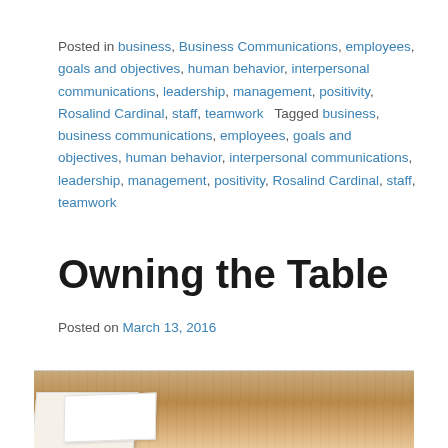Posted in business, Business Communications, employees, goals and objectives, human behavior, interpersonal communications, leadership, management, positivity, Rosalind Cardinal, staff, teamwork   Tagged business, business communications, employees, goals and objectives, human behavior, interpersonal communications, leadership, management, positivity, Rosalind Cardinal, staff, teamwork
Owning the Table
Posted on March 13, 2016
[Figure (photo): Partial view of papers and documents on a wooden table surface]